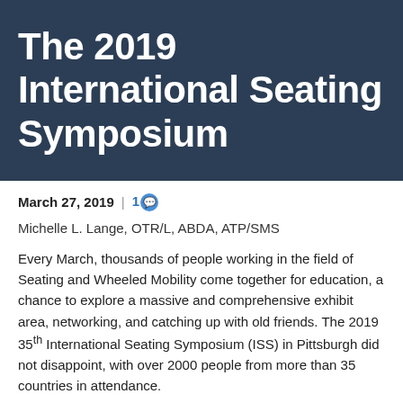The 2019 International Seating Symposium
March 27, 2019  |  1
Michelle L. Lange, OTR/L, ABDA, ATP/SMS
Every March, thousands of people working in the field of Seating and Wheeled Mobility come together for education, a chance to explore a massive and comprehensive exhibit area, networking, and catching up with old friends. The 2019 35th International Seating Symposium (ISS) in Pittsburgh did not disappoint, with over 2000 people from more than 35 countries in attendance.
I had the amazing opportunity to present a
[Figure (photo): Photo showing two people at the symposium, split into two panels]